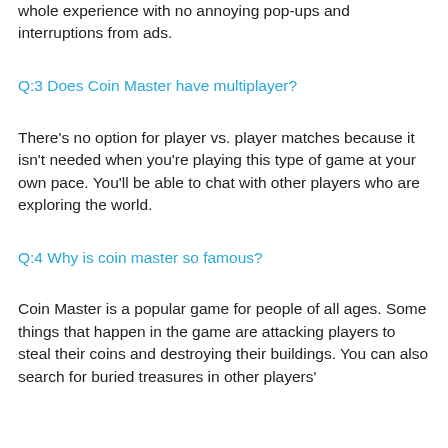whole experience with no annoying pop-ups and interruptions from ads.
Q:3 Does Coin Master have multiplayer?
There's no option for player vs. player matches because it isn't needed when you're playing this type of game at your own pace. You'll be able to chat with other players who are exploring the world.
Q:4 Why is coin master so famous?
Coin Master is a popular game for people of all ages. Some things that happen in the game are attacking players to steal their coins and destroying their buildings. You can also search for buried treasures in other players'